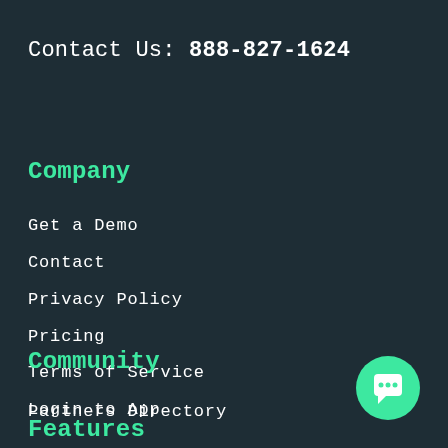Contact Us: 888-827-1624
Company
Get a Demo
Contact
Privacy Policy
Pricing
Terms of Service
Login to App
Community
Partners Directory
Features
[Figure (illustration): Green circular chat/support button in bottom right corner]